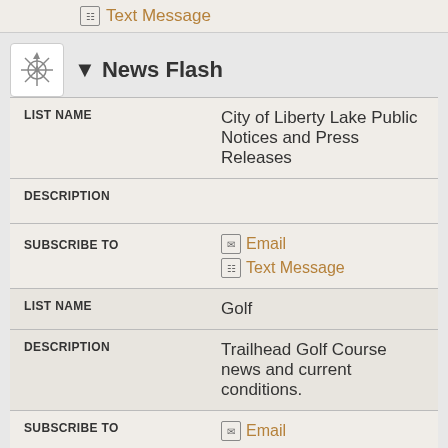Text Message
▼ News Flash
| Field | Value |
| --- | --- |
| LIST NAME | City of Liberty Lake Public Notices and Press Releases |
| DESCRIPTION |  |
| SUBSCRIBE TO | Email / Text Message |
| LIST NAME | Golf |
| DESCRIPTION | Trailhead Golf Course news and current conditions. |
| SUBSCRIBE TO | Email |